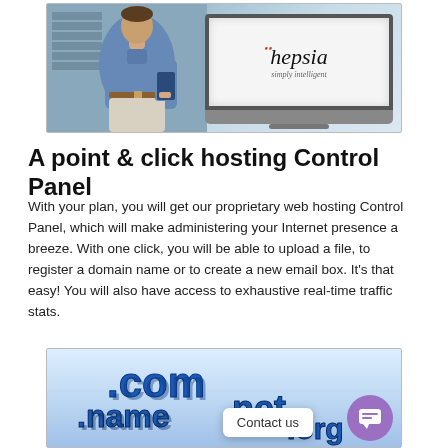[Figure (photo): Photo of a man in a blue shirt holding a tablet/folder, standing in front of server racks, with a laptop showing the Hepsia control panel logo (simply intelligent) on screen.]
A point & click hosting Control Panel
With your plan, you will get our proprietary web hosting Control Panel, which will make administering your Internet presence a breeze. With one click, you will be able to upload a file, to register a domain name or to create a new email box. It's that easy! You will also have access to exhaustive real-time traffic stats.
[Figure (illustration): 3D blue block letters spelling out .com, .name, .net, .org domain extensions stacked decoratively, on a light blue background.]
Contact us